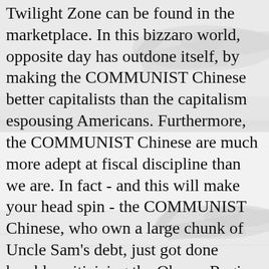[Figure (photo): Grayscale photograph of military jet aircraft on an aircraft carrier deck, faded/washed out appearance serving as background image behind text]
Twilight Zone can be found in the marketplace. In this bizzaro world, opposite day has outdone itself, by making the COMMUNIST Chinese better capitalists than the capitalism espousing Americans. Furthermore, the COMMUNIST Chinese are much more adept at fiscal discipline than we are. In fact - and this will make your head spin - the COMMUNIST Chinese, who own a large chunk of Uncle Sam's debt, just got done harshly criticizing the Obama Regime for its out of control spending and complete lack of fiscal discipline.
Proving what a strange world this is, a staunch Demoncrat supporting capitalist - Steve Wynn - just got done challenging reactions. Mo ri d...